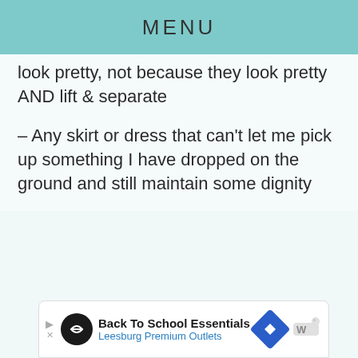MENU
look pretty, not because they look pretty AND lift & separate
– Any skirt or dress that can't let me pick up something I have dropped on the ground and still maintain some dignity
[Figure (other): Heart/favourite button (teal circle with heart icon) and share button (white circle with share icon)]
[Figure (other): Advertisement bar: Back To School Essentials - Leesburg Premium Outlets, with logo, navigation icon, and Waze icon]